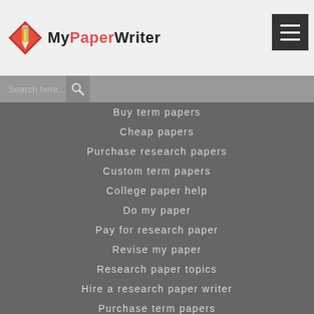[Figure (logo): MyPaperWriter logo with diamond pencil icon]
Conclusion generator
College papers
Buy term papers
Cheap papers
Purchase research papers
Custom term papers
College paper help
Do my paper
Pay for research paper
Revise my paper
Research paper topics
Hire a research paper writer
Purchase term papers
Students papers online